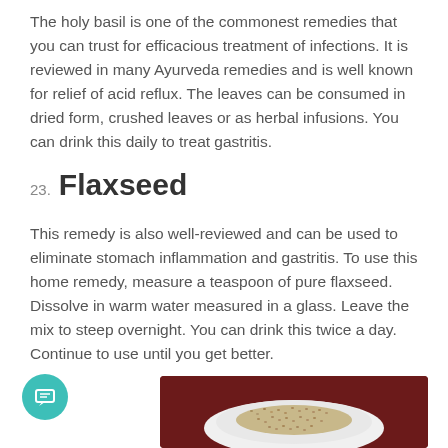The holy basil is one of the commonest remedies that you can trust for efficacious treatment of infections. It is reviewed in many Ayurveda remedies and is well known for relief of acid reflux. The leaves can be consumed in dried form, crushed leaves or as herbal infusions. You can drink this daily to treat gastritis.
23. Flaxseed
This remedy is also well-reviewed and can be used to eliminate stomach inflammation and gastritis. To use this home remedy, measure a teaspoon of pure flaxseed. Dissolve in warm water measured in a glass. Leave the mix to steep overnight. You can drink this twice a day. Continue to use until you get better.
[Figure (photo): Photo of flaxseeds on a white plate against a dark reddish-brown wooden background]